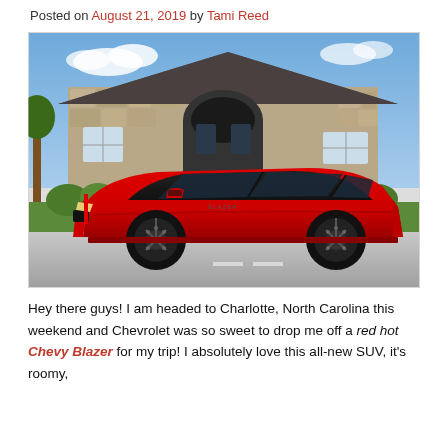Posted on August 21, 2019 by Tami Reed
[Figure (photo): Red Chevrolet Blazer SUV parked in front of a stone house with green landscaping on a sunny day.]
Hey there guys! I am headed to Charlotte, North Carolina this weekend and Chevrolet was so sweet to drop me off a red hot Chevy Blazer for my trip! I absolutely love this all-new SUV, it's roomy,